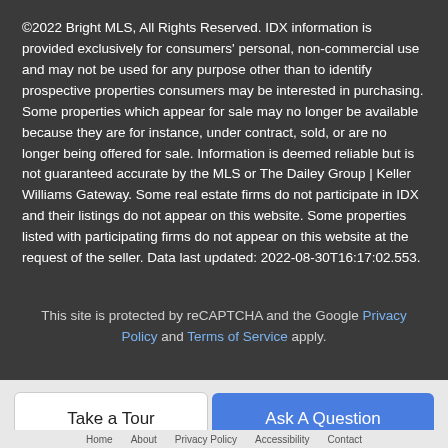©2022 Bright MLS, All Rights Reserved. IDX information is provided exclusively for consumers' personal, non-commercial use and may not be used for any purpose other than to identify prospective properties consumers may be interested in purchasing. Some properties which appear for sale may no longer be available because they are for instance, under contract, sold, or are no longer being offered for sale. Information is deemed reliable but is not guaranteed accurate by the MLS or The Dailey Group | Keller Williams Gateway. Some real estate firms do not participate in IDX and their listings do not appear on this website. Some properties listed with participating firms do not appear on this website at the request of the seller. Data last updated: 2022-08-30T16:17:02.553.
This site is protected by reCAPTCHA and the Google Privacy Policy and Terms of Service apply.
Take a Tour
Ask A Question
Home   About   Privacy Policy   Accessibility   Contact